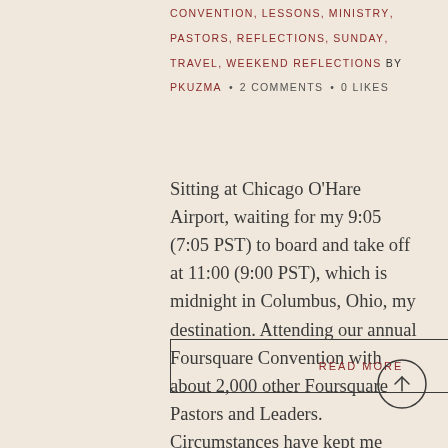CONVENTION, LESSONS, MINISTRY, PASTORS, REFLECTIONS, SUNDAY, TRAVEL, WEEKEND REFLECTIONS BY PKUZMA • 2 COMMENTS • 0 LIKES
Sitting at Chicago O'Hare Airport, waiting for my 9:05 (7:05 PST) to board and take off at 11:00 (9:00 PST), which is midnight in Columbus, Ohio, my destination. Attending our annual Foursquare Convention with about 2,000 other Foursquare Pastors and Leaders. Circumstances have kept me from...
READ MORE